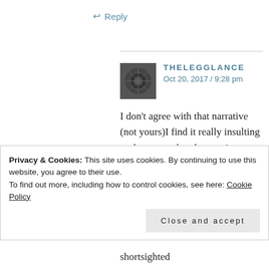↩ Reply
THELEGGLANCE
Oct 20, 2017 / 9:28 pm
I don't agree with that narrative (not yours)I find it really insulting to the young that they can't pay attention. I know kids who love cricket who are highly offended that they are supposed to be T20
Privacy & Cookies: This site uses cookies. By continuing to use this website, you agree to their use.
To find out more, including how to control cookies, see here: Cookie Policy
Close and accept
shortsighted